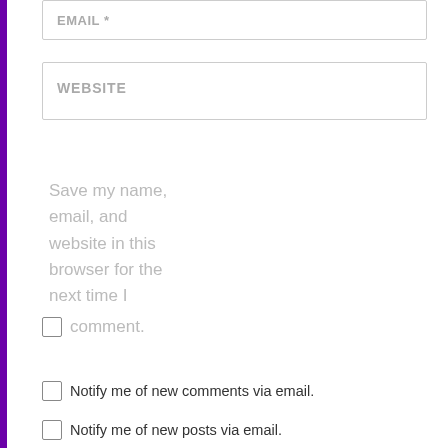EMAIL *
WEBSITE
Save my name, email, and website in this browser for the next time I comment.
POST COMMENT
Notify me of new comments via email.
Notify me of new posts via email.